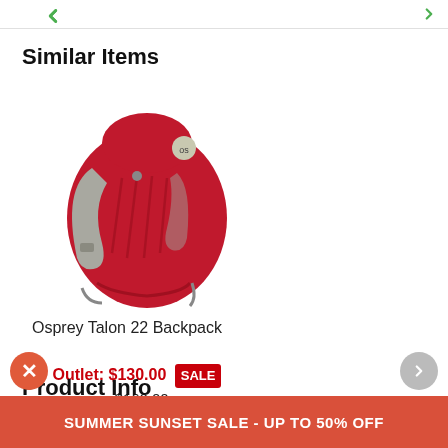Similar Items
[Figure (photo): Red Osprey Talon 22 Backpack with gray shoulder straps, shown from the back/side angle on a white background.]
Osprey Talon 22 Backpack
Outlet: $130.00 SALE - $160.00
Product Info
SUMMER SUNSET SALE - UP TO 50% OFF